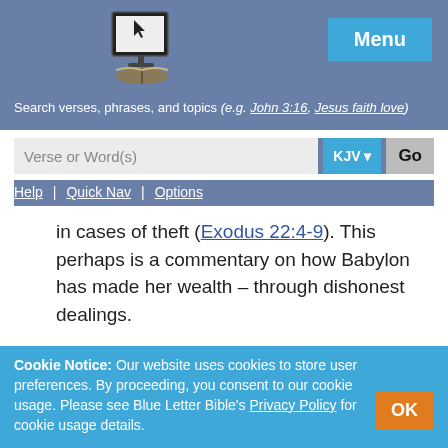[Figure (logo): Blue Letter Bible logo — computer screen with cursor over an open book]
Menu
Search verses, phrases, and topics (e.g. John 3:16, Jesus faith love)
Verse or Word(s)  KJV  Go
Help | Quick Nav | Options
in cases of theft (Exodus 22:4-9). This perhaps is a commentary on how Babylon has made her wealth – through dishonest dealings.
c. Repay her double according to her works: This passage presents a three-fold sin. First, self-indulgence (lived luxuriously). Second, pride (glorified herself... sits as a
Cookie Notice: Our website uses cookies to store user preferences. By proceeding, you consent to our cookie usage. Please see Blue Letter Bible's Privacy Policy for cookie usage details.